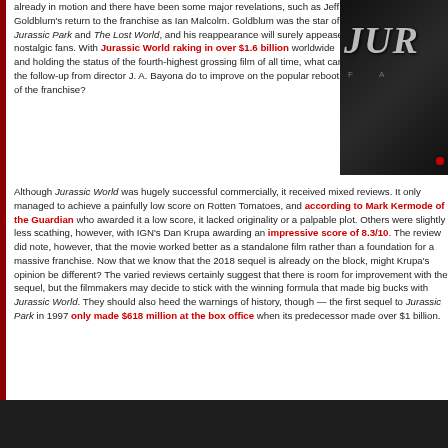already in motion and there have been some major revelations, such as Jeff Goldblum's return to the franchise as Ian Malcolm. Goldblum was the star of Jurassic Park and The Lost World, and his reappearance will surely appease nostalgic fans. With Jurassic World raking in over $1.6 billion worldwide and holding the status of the fourth-highest grossing film of all time, what can the follow-up from director J. A. Bayona do to improve on the popular reboot of the franchise?
[Figure (photo): Dark movie poster for Jurassic World showing partial text JUR in large metallic letters on dark background]
Although Jurassic World was hugely successful commercially, it received mixed reviews. It only managed to achieve a painfully low score on Rotten Tomatoes, and according to Mark Kermode of the Guardian who awarded it a low score, it lacked originality or a palpable plot. Others were slightly less scathing, however, with IGN's Dan Krupa awarding an impressive score of 8.3/10. The review did note, however, that the movie worked better as a standalone film rather than a foundation for a massive franchise. Now that we know that the 2018 sequel is already on the block, might Krupa's opinion be different? The varied reviews certainly suggest that there is room for improvement with the sequel, but the filmmakers may decide to stick with the winning formula that made big bucks with Jurassic World. They should also heed the warnings of history, though — the first sequel to Jurassic Park in 1997 only made $618 million at the box office when its predecessor made over $1 billion.
[Figure (photo): Dark banner/footer image at the bottom of the page]